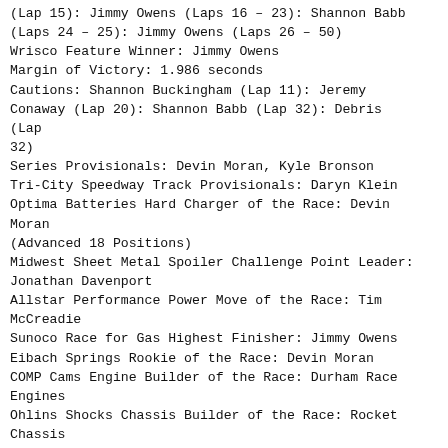(Lap 15): Jimmy Owens (Laps 16 – 23): Shannon Babb (Laps 24 – 25): Jimmy Owens (Laps 26 – 50)
Wrisco Feature Winner: Jimmy Owens
Margin of Victory: 1.986 seconds
Cautions: Shannon Buckingham (Lap 11): Jeremy Conaway (Lap 20): Shannon Babb (Lap 32): Debris (Lap 32)
Series Provisionals: Devin Moran, Kyle Bronson
Tri-City Speedway Track Provisionals: Daryn Klein
Optima Batteries Hard Charger of the Race: Devin Moran (Advanced 18 Positions)
Midwest Sheet Metal Spoiler Challenge Point Leader: Jonathan Davenport
Allstar Performance Power Move of the Race: Tim McCreadie
Sunoco Race for Gas Highest Finisher: Jimmy Owens
Eibach Springs Rookie of the Race: Devin Moran
COMP Cams Engine Builder of the Race: Durham Race Engines
Ohlins Shocks Chassis Builder of the Race: Rocket Chassis
Outerwears Crew Chief of the Race: Jeff Strope (Jimmy Owens)
Dirty Girl Racewear Fastest Lap of the Race: Jimmy Owens (Lap #1 – 16.370 seconds)
Hot Rod Processing Tough Break of the Race: Shannon Babb
STEEL-IT Most Laps Led: Jimmy Owens ( 45Laps)